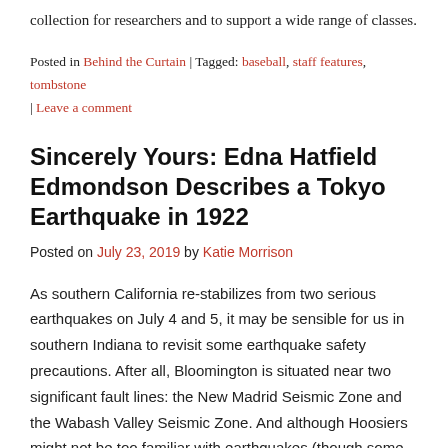collection for researchers and to support a wide range of classes.
Posted in Behind the Curtain | Tagged: baseball, staff features, tombstone | Leave a comment
Sincerely Yours: Edna Hatfield Edmondson Describes a Tokyo Earthquake in 1922
Posted on July 23, 2019 by Katie Morrison
As southern California re-stabilizes from two serious earthquakes on July 4 and 5, it may be sensible for us in southern Indiana to revisit some earthquake safety precautions. After all, Bloomington is situated near two significant fault lines: the New Madrid Seismic Zone and the Wabash Valley Seismic Zone. And although Hoosiers might not be too familiar with earthquakes (though some of us might remember the 5.2 magnitude quake in 2008—I know I sure do!), a letter from Edna Hatfield Edmondson shows how a group of Indiana University